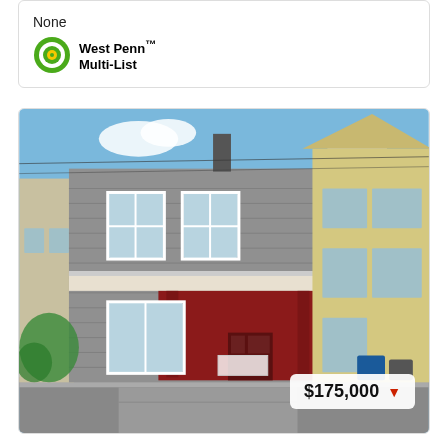None
[Figure (logo): West Penn Multi-List logo with green bullseye icon and bold black text]
[Figure (photo): Two-story residential house with gray shingle siding, red porch, white trim windows, blue sky background. Price badge showing $175,000 with red down arrow.]